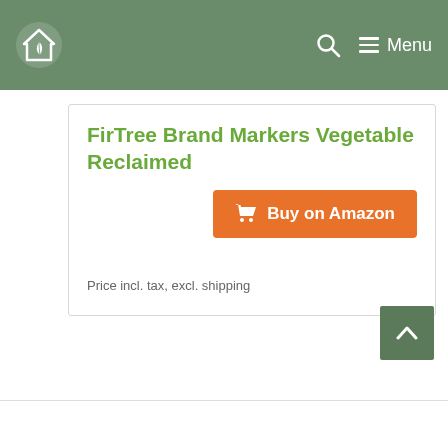FirTree home/garden site header with logo and menu
FirTree Brand Markers Vegetable Reclaimed
Buy on Amazon
Price incl. tax, excl. shipping